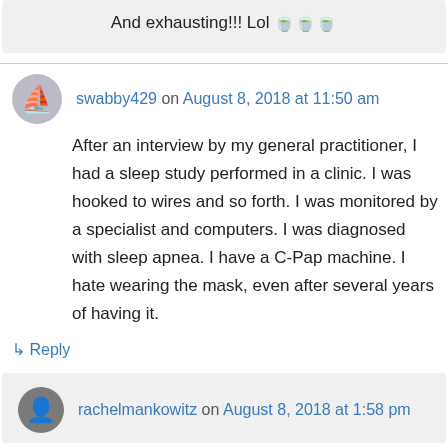And exhausting!!! Lol 🍵🍵🍵
swabby429 on August 8, 2018 at 11:50 am
After an interview by my general practitioner, I had a sleep study performed in a clinic. I was hooked to wires and so forth. I was monitored by a specialist and computers. I was diagnosed with sleep apnea. I have a C-Pap machine. I hate wearing the mask, even after several years of having it.
↳ Reply
rachelmankowitz on August 8, 2018 at 1:58 pm